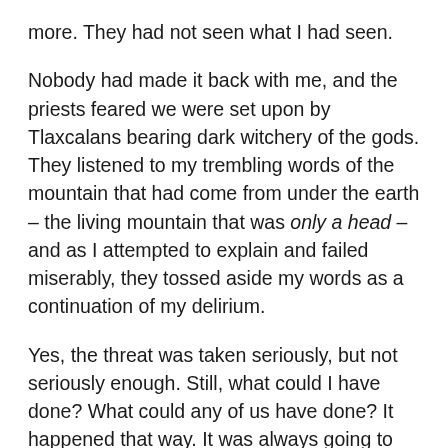more. They had not seen what I had seen.
Nobody had made it back with me, and the priests feared we were set upon by Tlaxcalans bearing dark witchery of the gods. They listened to my trembling words of the mountain that had come from under the earth – the living mountain that was only a head – and as I attempted to explain and failed miserably, they tossed aside my words as a continuation of my delirium.
Yes, the threat was taken seriously, but not seriously enough. Still, what could I have done? What could any of us have done? It happened that way. It was always going to happen that way.
There was only one thing spoken in my trance that they had listened to. I had chanted a name – a name that would go on to become legend, a name that sent a chill into the hearts of the bravest and wisest. Quetzacthulhu. I did not know then how the priests could have identified that word among all the others, and assumed it the name of the monster. Now I realise